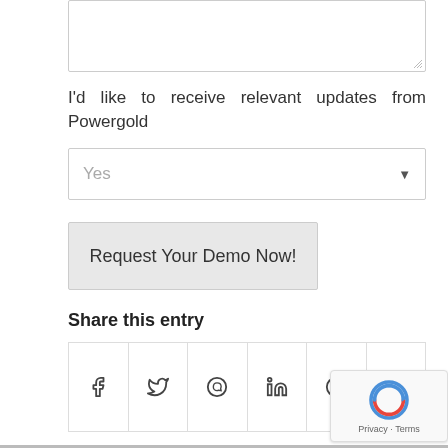[Figure (screenshot): Partial textarea form field (top portion cut off) with resize handle]
I'd like to receive relevant updates from Powergold
[Figure (screenshot): Dropdown select box showing 'Yes' with down arrow]
[Figure (screenshot): Button labeled 'Request Your Demo Now!']
Share this entry
[Figure (screenshot): Social share icon row with Facebook, Twitter, WhatsApp, LinkedIn, Reddit, and Email icons]
[Figure (screenshot): reCAPTCHA badge with Privacy and Terms text]